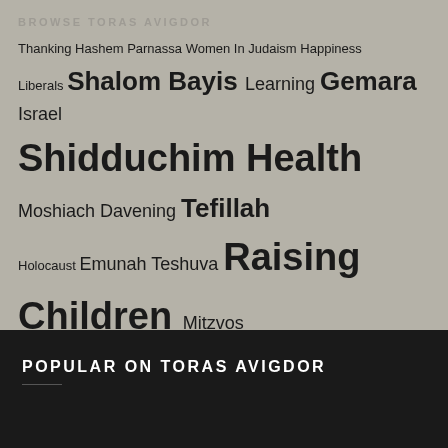BROWSE TORAS AVIGDOR
Thanking Hashem Parnassa Women In Judaism Happiness Liberals Shalom Bayis Learning Gemara Israel Shidduchim Health Moshiach Davening Tefillah Holocaust Emunah Teshuva Raising Children Mitzvos Eretz Yisroel Frum Jews Fellow Jews: Loving Them Zionism Chinuch Marriage Learning Mussar Shabbos Parenting Keeping Quiet Pesach Learning Torah Kollel Avraham Avinu Olam Habo Yeshivos Prayer
POPULAR ON TORAS AVIGDOR